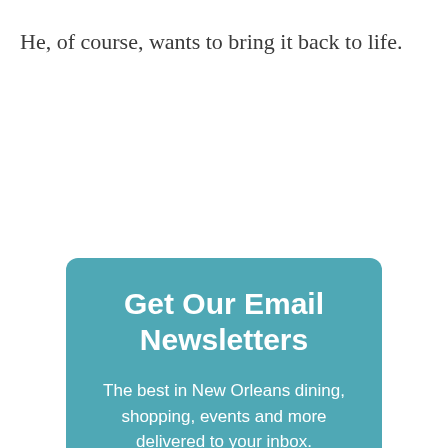He, of course, wants to bring it back to life.
Get Our Email Newsletters
The best in New Orleans dining, shopping, events and more delivered to your inbox.
Sign Up